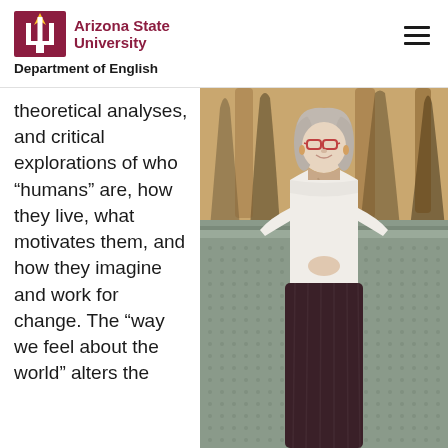ASU Arizona State University — Department of English
theoretical analyses, and critical explorations of who “humans” are, how they live, what motivates them, and how they imagine and work for change. The “way we feel about the world” alters the
[Figure (photo): A woman with grey hair and glasses, wearing a white sweater and a patterned scarf with a dark skirt, smiling and leaning against a metal railing outdoors. The background shows desert landscape with palm trees.]